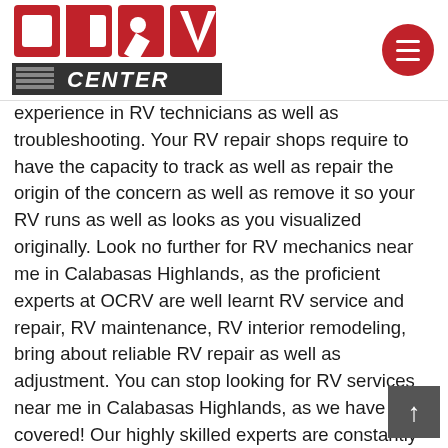OCRV CENTER logo and navigation menu
experience in RV technicians as well as troubleshooting. Your RV repair shops require to have the capacity to track as well as repair the origin of the concern as well as remove it so your RV runs as well as looks as you visualized originally. Look no further for RV mechanics near me in Calabasas Highlands, as the proficient experts at OCRV are well learnt RV service and repair, RV maintenance, RV interior remodeling, bring about reliable RV repair as well as adjustment. You can stop looking for RV services near me in Calabasas Highlands, as we have you covered! Our highly skilled experts are constantly below when you require them, so if you have an emergency situation as well as require to swiftly find RV repair shops near me, we have can aid! You can depend on our services to get the job done the very first time. You can stop trying to find RV repair near me in Calabasas Highlands, as we can accomplish anything from